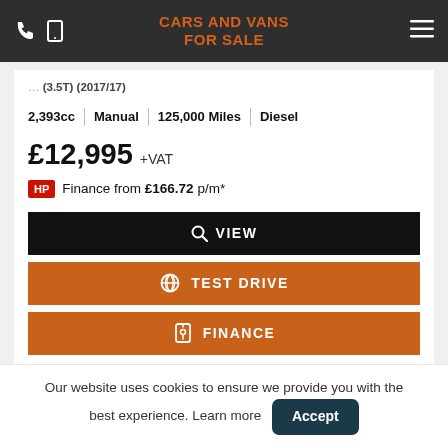CARS AND VANS FOR SALE
(3.5T) (2017/17)
2,393cc | Manual | 125,000 Miles | Diesel
£12,995 +VAT
HP Finance from £166.72 p/m*
VIEW
TEST DRIVE
FINANCE
Our website uses cookies to ensure we provide you with the best experience. Learn more Accept